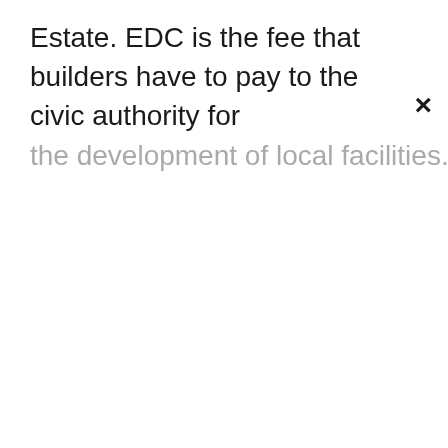Estate. EDC is the fee that builders have to pay to the civic authority for the development of local facilities...